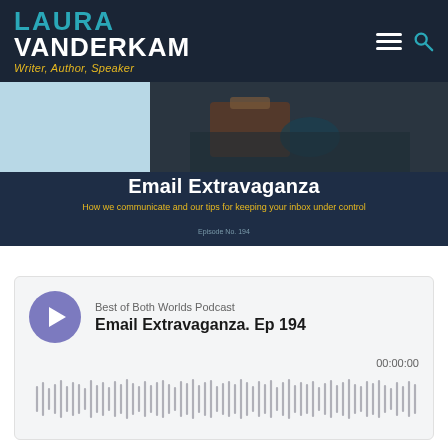LAURA VANDERKAM — Writer, Author, Speaker
[Figure (screenshot): Podcast banner image for Email Extravaganza episode with dark blue background, light blue rectangle and photo of hands on the left/right]
Email Extravaganza
How we communicate and our tips for keeping your inbox under control
Episode No. 194
[Figure (screenshot): Podcast audio player card showing Best of Both Worlds Podcast, Email Extravaganza Ep 194, with purple play button, timestamp 00:00:00, and waveform visualization]